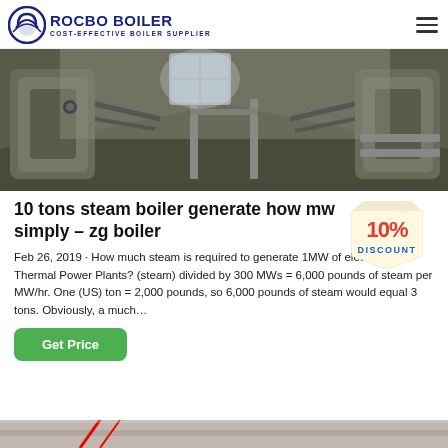ROCBO BOILER — COST-EFFECTIVE BOILER SUPPLIER
[Figure (photo): Industrial boiler facility interior showing large cylindrical boilers with pipes and equipment in a warehouse setting]
10 tons steam boiler generate how mw simply – zg boiler
[Figure (illustration): 10% DISCOUNT badge/sticker in red and yellow]
Feb 26, 2019 · How much steam is required to generate 1MW of electricity in Thermal Power Plants? (steam) divided by 300 MWs = 6,000 pounds of steam per MW/hr. One (US) ton = 2,000 pounds, so 6,000 pounds of steam would equal 3 tons. Obviously, a much…
Get Price
[Figure (photo): Partial view of another boiler or industrial equipment at the bottom of the page]